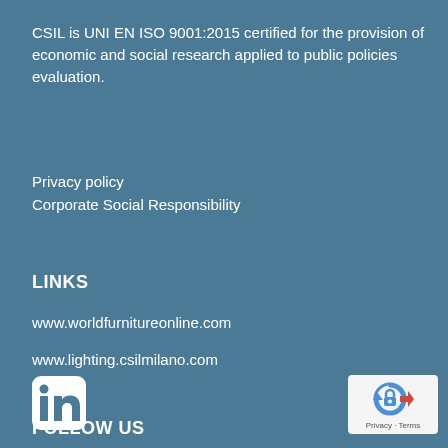CSIL is UNI EN ISO 9001:2015 certified for the provision of economic and social research applied to public policies evaluation.
Privacy policy
Corporate Social Responsibility
LINKS
www.worldfurnitureonline.com
www.lighting.csilmilano.com
FOLLOW US
[Figure (logo): LinkedIn logo icon — white 'in' on rounded square background]
[Figure (logo): reCAPTCHA badge with Privacy and Terms text]